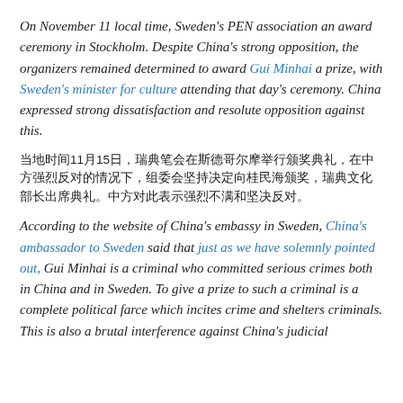On November 11 local time, Sweden's PEN association an award ceremony in Stockholm. Despite China's strong opposition, the organizers remained determined to award Gui Minhai a prize, with Sweden's minister for culture attending that day's ceremony. China expressed strong dissatisfaction and resolute opposition against this.
当地时间11月15日，瑞典笔会在斯德哥尔摩举行颁奖典礼，在中方强烈反对的情况下，组委会坚持决定向桂民海颁奖，瑞典文化部长出席典礼。中方对此表示强烈不满和坚决反对。
According to the website of China's embassy in Sweden, China's ambassador to Sweden said that just as we have solemnly pointed out, Gui Minhai is a criminal who committed serious crimes both in China and in Sweden. To give a prize to such a criminal is a complete political farce which incites crime and shelters criminals. This is also a brutal interference against China's judicial